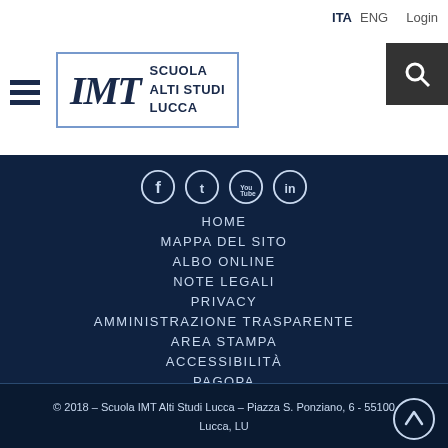[Figure (logo): IMT Scuola Alti Studi Lucca logo with hamburger menu icon and search button]
[Figure (infographic): Social media icons: Facebook, Twitter, YouTube, LinkedIn in circular outlines on dark blue background]
HOME
MAPPA DEL SITO
ALBO ONLINE
NOTE LEGALI
PRIVACY
AMMINISTRAZIONE TRASPARENTE
AREA STAMPA
ACCESSIBILITÀ
PAGOPA
© 2018 - Scuola IMT Alti Studi Lucca - Piazza S. Ponziano, 6 - 55100 Lucca, LU